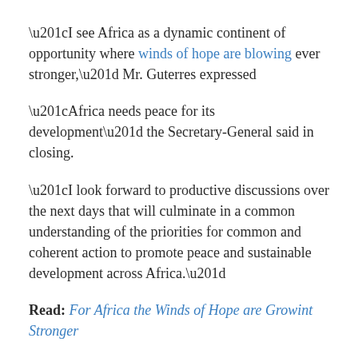“I see Africa as a dynamic continent of opportunity where winds of hope are blowing ever stronger,” Mr. Guterres expressed
“Africa needs peace for its development” the Secretary-General said in closing.
“I look forward to productive discussions over the next days that will culminate in a common understanding of the priorities for common and coherent action to promote peace and sustainable development across Africa.”
Read: For Africa the Winds of Hope are Growint Stronger